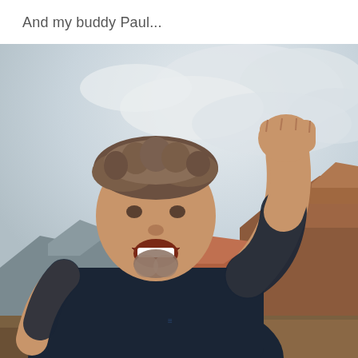And my buddy Paul...
[Figure (photo): A man with short brown hair, a goatee, wearing a dark navy Adidas t-shirt, smiling and celebrating with his right fist raised in the air. He is taking a selfie outdoors on a mountain summit with a dramatic cloudy sky and colorful rocky mountain ridges visible in the background.]